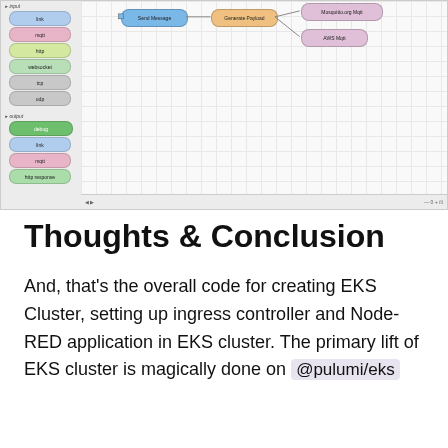[Figure (screenshot): Node-RED flow editor screenshot showing a left panel with node types (ink, mqtt, http, websocket, tcp, udp under input; debug, link, mqtt, http response under output) and a main canvas with connected nodes: Send Message → Generate Payload → Mosquitto.org Mqtt and AWS Mqtt]
Thoughts & Conclusion
And, that's the overall code for creating EKS Cluster, setting up ingress controller and Node-RED application in EKS cluster. The primary lift of EKS cluster is magically done on @pulumi/eks